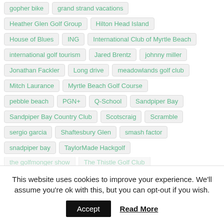gopher bike
grand strand vacations
Heather Glen Golf Group
Hilton Head Island
House of Blues
ING
International Club of Myrtle Beach
international golf tourism
Jared Brentz
johnny miller
Jonathan Fackler
Long drive
meadowlands golf club
Mitch Laurance
Myrtle Beach Golf Course
pebble beach
PGN+
Q-School
Sandpiper Bay
Sandpiper Bay Country Club
Scotscraig
Scramble
sergio garcia
Shaftesbury Glen
smash factor
snadpiper bay
TaylorMade Hackgolf
the golfmonger show
The Thistle Golf Club
This website uses cookies to improve your experience. We'll assume you're ok with this, but you can opt-out if you wish.
Accept
Read More